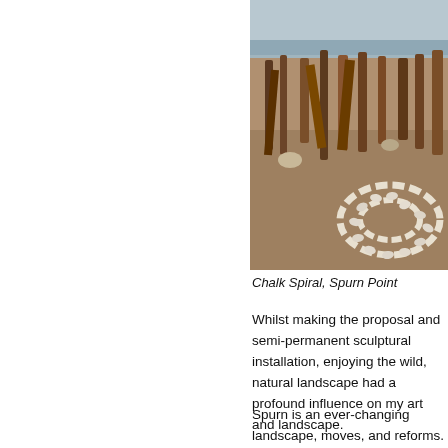[Figure (photo): Photograph of a beach at Spurn Point showing weathered wooden posts/pilings in the background and a chalk spiral arrangement on the sandy foreground. The sky and sea are visible in the distance.]
Chalk Spiral, Spurn Point
Whilst making the proposal and semi-permanent sculptural installation, enjoying the wild, natural landscape had a profound influence on my art and landscape.
Spurn is an ever-changing landscape, moves, and reforms. Why then ...